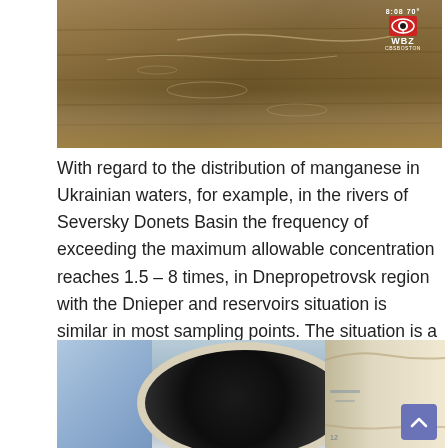[Figure (photo): Screenshot of muddy brown water, likely a river, with a CBS4 WBZ television news logo in the upper right corner.]
With regard to the distribution of manganese in Ukrainian waters, for example, in the rivers of Seversky Donets Basin the frequency of exceeding the maximum allowable concentration reaches 1.5 – 8 times, in Dnepropetrovsk region with the Dnieper and reservoirs situation is similar in most sampling points. The situation is a little better with the Dnieper River, along its entire length.
[Figure (photo): Close-up photograph of a water pipe cross-section showing heavy black manganese/mineral deposits coating the interior of the pipe, with outdoor background visible including grass and sidewalk. A blue scroll-to-top button is visible in the bottom right corner.]